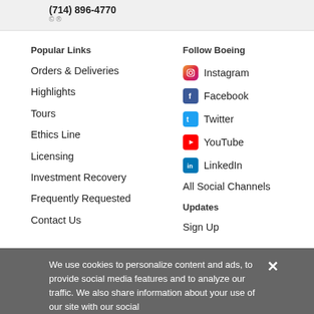(714) 896-4770
Popular Links
Orders & Deliveries
Highlights
Tours
Ethics Line
Licensing
Investment Recovery
Frequently Requested
Contact Us
Follow Boeing
Instagram
Facebook
Twitter
YouTube
LinkedIn
All Social Channels
Updates
Sign Up
We use cookies to personalize content and ads, to provide social media features and to analyze our traffic. We also share information about your use of our site with our social